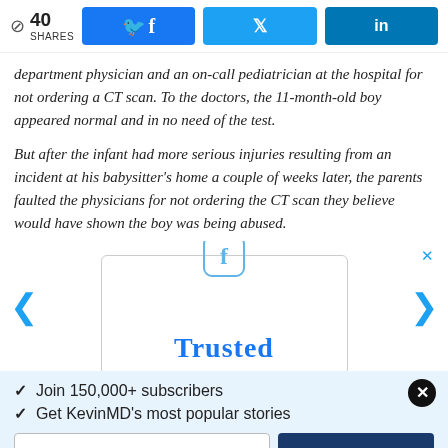40 SHARES | Facebook share | Twitter share | LinkedIn share
department physician and an on-call pediatrician at the hospital for not ordering a CT scan. To the doctors, the 11-month-old boy appeared normal and in no need of the test.
But after the infant had more serious injuries resulting from an incident at his babysitter's home a couple of weeks later, the parents faulted the physicians for not ordering the CT scan they believe would have shown the boy was being abused.
[Figure (other): Facebook social media advertisement overlay with 'Trusted' text in blue]
Join 150,000+ subscribers
Get KevinMD's most popular stories
Email | Subscribe. It's free.